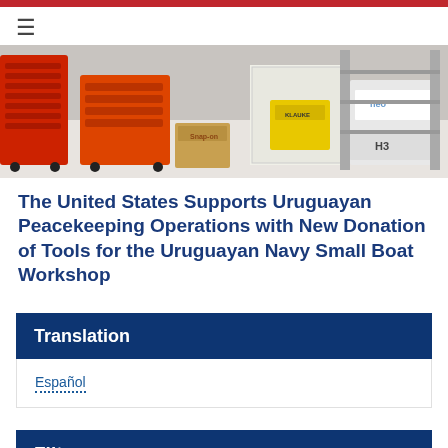[Figure (photo): Workshop photo showing red tool cabinets, cardboard boxes, and equipment including items labeled 'neo' and 'H3' in an industrial workspace]
The United States Supports Uruguayan Peacekeeping Operations with New Donation of Tools for the Uruguayan Navy Small Boat Workshop
Translation
Español
Filter